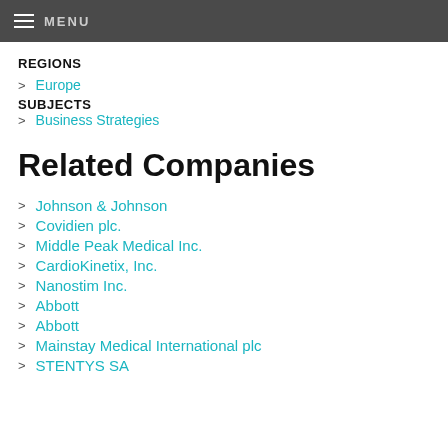MENU
REGIONS
Europe
SUBJECTS
Business Strategies
Related Companies
Johnson & Johnson
Covidien plc.
Middle Peak Medical Inc.
CardioKinetix, Inc.
Nanostim Inc.
Abbott
Abbott
Mainstay Medical International plc
STENTYS SA